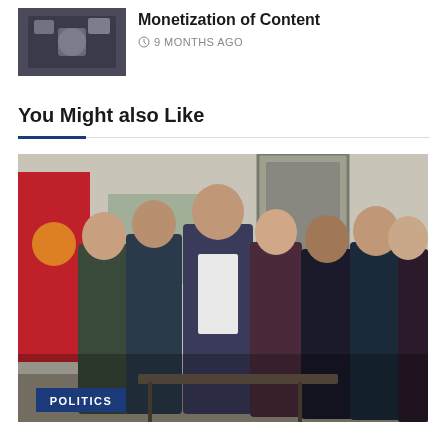[Figure (photo): Small thumbnail image showing people with phones, for article about Monetization of Content]
Monetization of Content
9 MONTHS AGO
You Might also Like
[Figure (photo): Group photo of approximately 7 people standing together indoors, with a red flag/banner visible on the left wall and a door in the background. A POLITICS badge is shown in the lower left corner of the image.]